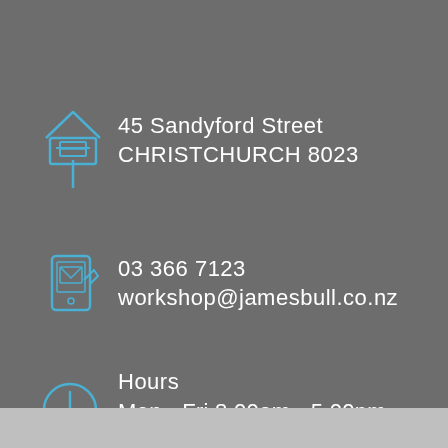[Figure (illustration): Blue outline icon of a letterbox/mailbox on a post]
45 Sandyford Street
CHRISTCHURCH 8023
[Figure (illustration): Blue outline icon of a mobile phone with an envelope/letter]
03 366 7123
workshop@jamesbull.co.nz
[Figure (illustration): Blue outline icon of a clock]
Hours
Mon - Fri 8.00am - 5.00pm
Sat 9.00am - 3.00pm
Sun Closed